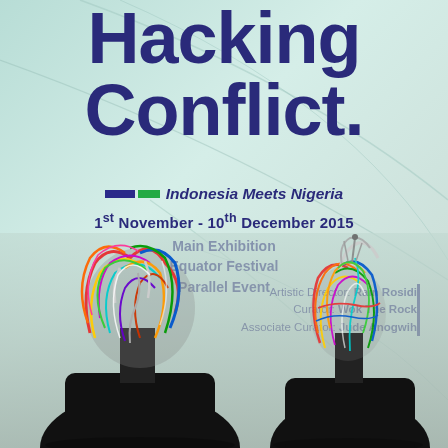Hacking Conflict.
Indonesia Meets Nigeria
1st November - 10th December 2015
Main Exhibition
Equator Festival
Parallel Event
Artistic Director: Rain Rosidi
Curator: Wok The Rock
Associate Curator: Jude Anogwih
[Figure (photo): Two figures viewed from behind wearing black clothing, each with a head covered in a tangled mass of colorful wires and cables. The figure on the left has a denser, larger mass of wires. The figure on the right has a thinner wire structure on their head. The background is a light gradient with subtle curved lines.]